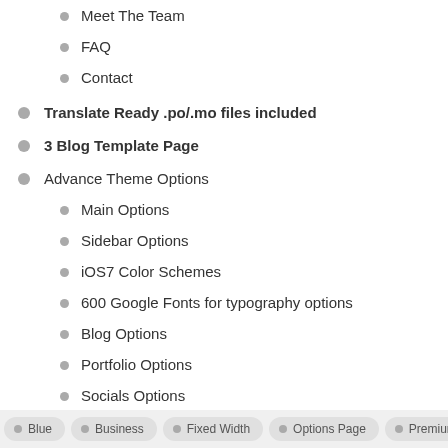Meet The Team
FAQ
Contact
Translate Ready .po/.mo files included
3 Blog Template Page
Advance Theme Options
Main Options
Sidebar Options
iOS7 Color Schemes
600 Google Fonts for typography options
Blog Options
Portfolio Options
Socials Options
Easy to setup – Demo.xml file included , Slider import file included
Blue  Business  Fixed Width  Options Page  Premium